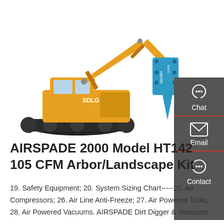[Figure (photo): Yellow SDLG excavator with a blue hydraulic breaker attachment (HB200) on the arm, white background.]
AIRSPADE 2000 Model HT142 105 CFM Arbor/Landscape Kit
19. Safety Equipment; 20. System Sizing Chart-----25. Air Compressors; 26. Air Line Anti-Freeze; 27. Air Powered Tools; 28. Air Powered Vacuums. AIRSPADE Dirt Digger & Vacuums.